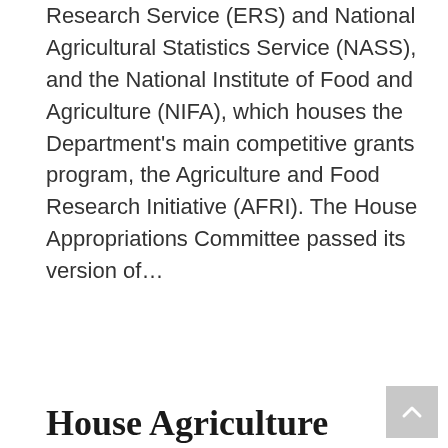Research Service (ERS) and National Agricultural Statistics Service (NASS), and the National Institute of Food and Agriculture (NIFA), which houses the Department's main competitive grants program, the Agriculture and Food Research Initiative (AFRI). The House Appropriations Committee passed its version of...
READ MORE
House Agriculture